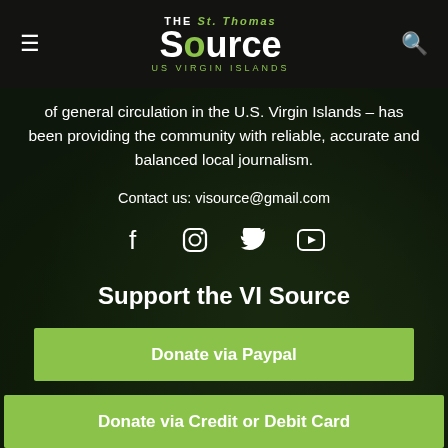THE St. Thomas Source US VIRGIN ISLANDS
of general circulation in the U.S. Virgin Islands – has been providing the community with reliable, accurate and balanced local journalism.
Contact us: visource@gmail.com
[Figure (infographic): Social media icons: Facebook, Instagram, Twitter, YouTube]
Support the VI Source
Donate via Paypal
Donate via Credit or Debit Card